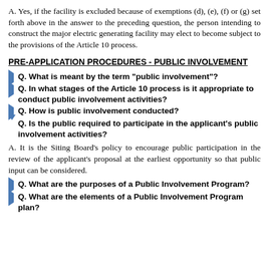A. Yes, if the facility is excluded because of exemptions (d), (e), (f) or (g) set forth above in the answer to the preceding question, the person intending to construct the major electric generating facility may elect to become subject to the provisions of the Article 10 process.
PRE-APPLICATION PROCEDURES - PUBLIC INVOLVEMENT
Q. What is meant by the term "public involvement"?
Q. In what stages of the Article 10 process is it appropriate to conduct public involvement activities?
Q. How is public involvement conducted?
Q. Is the public required to participate in the applicant's public involvement activities?
A. It is the Siting Board’s policy to encourage public participation in the review of the applicant’s proposal at the earliest opportunity so that public input can be considered.
Q. What are the purposes of a Public Involvement Program?
Q. What are the elements of a Public Involvement Program plan?